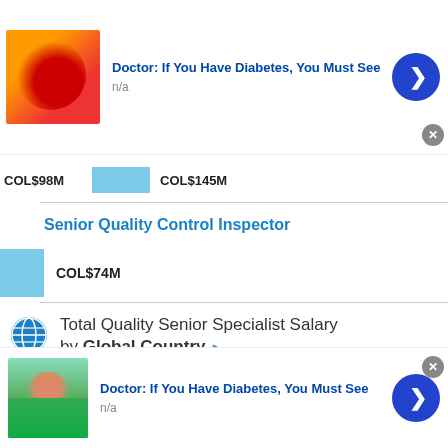[Figure (infographic): Ad banner at top: food image on left, 'Doctor: If You Have Diabetes, You Must See' title in blue, n/a subtitle, blue arrow circle button, gray X close button]
COL$98M  COL$145M
Senior Quality Control Inspector
COL$74M
Total Quality Senior Specialist Salary by Global Country ▶
This site uses cookies and other similar technologies to provide site functionality, analyze traffic and usage, and
[Figure (infographic): Ad banner at bottom: food/plant image on left, 'Doctor: If You Have Diabetes, You Must See' title in blue, n/a subtitle, blue arrow circle button, gray X close button]